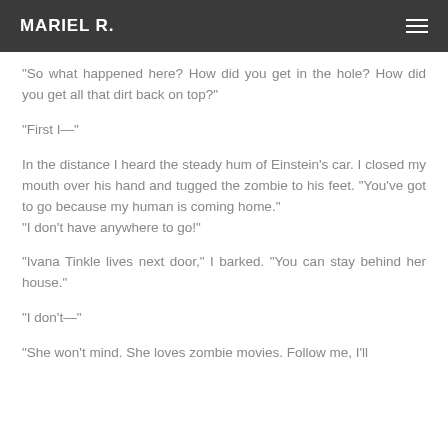MARIEL R.
"So what happened here? How did you get in the hole? How did you get all that dirt back on top?"
"First I—"
In the distance I heard the steady hum of Einstein's car. I closed my mouth over his hand and tugged the zombie to his feet. "You've got to go because my human is coming home."
"I don't have anywhere to go!"
"Ivana Tinkle lives next door," I barked. "You can stay behind her house."
"I don't—"
"She won't mind. She loves zombie movies. Follow me, I'll